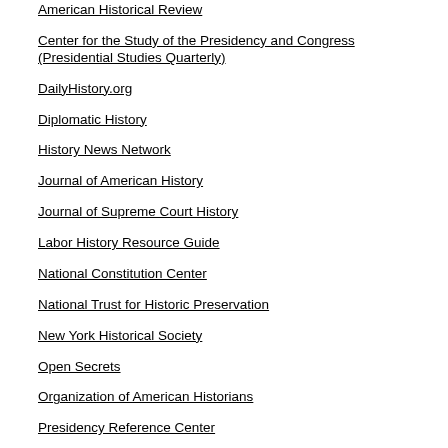American Historical Review
Center for the Study of the Presidency and Congress (Presidential Studies Quarterly)
DailyHistory.org
Diplomatic History
History News Network
Journal of American History
Journal of Supreme Court History
Labor History Resource Guide
National Constitution Center
National Trust for Historic Preservation
New York Historical Society
Open Secrets
Organization of American Historians
Presidency Reference Center